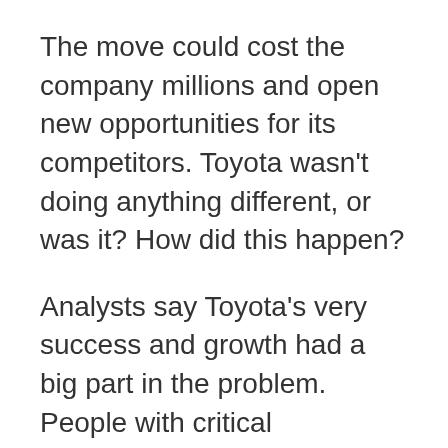The move could cost the company millions and open new opportunities for its competitors. Toyota wasn't doing anything different, or was it? How did this happen?
Analysts say Toyota's very success and growth had a big part in the problem. People with critical knowledge were spread more thinly among the design centers because of this heightened production, and increased part-sharing among different models amplified the magnitude of a single part failure. Toyota leadership also has been faulted for inadequately predicting market trends, the latest example being its decision to produce a heavier, more powerful, thirstier